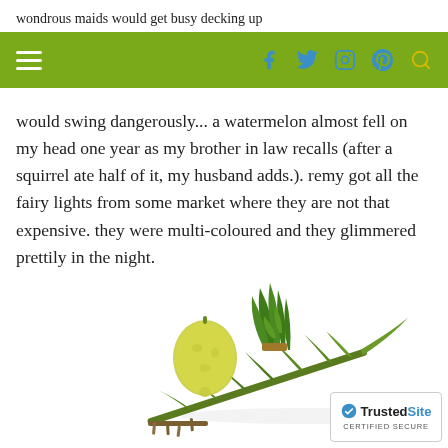wondrous maids would get busy decking up
would swing dangerously... a watermelon almost fell on my head one year as my brother in law recalls (after a squirrel ate half of it, my husband adds.). remy got all the fairy lights from some market where they are not that expensive. they were multi-coloured and they glimmered prettily in the night.
[Figure (photo): A lulav (palm frond bundle with myrtle and willow branches) and an etrog (citron fruit) on a white background, traditional items used during the Jewish festival of Sukkot.]